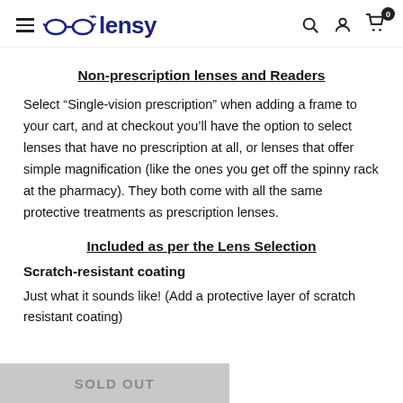lensy — navigation header with hamburger menu, logo, search, account, and cart icons
Non-prescription lenses and Readers
Select “Single-vision prescription” when adding a frame to your cart, and at checkout you’ll have the option to select lenses that have no prescription at all, or lenses that offer simple magnification (like the ones you get off the spinny rack at the pharmacy). They both come with all the same protective treatments as prescription lenses.
Included as per the Lens Selection
Scratch-resistant coating
Just what it sounds like! (Add a protective layer of scratch resistant coating)
SOLD OUT